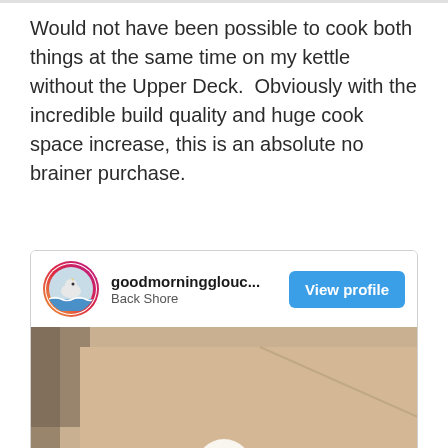Would not have been possible to cook both things at the same time on my kettle without the Upper Deck.  Obviously with the incredible build quality and huge cook space increase, this is an absolute no brainer purchase.
[Figure (screenshot): Social media post card showing Instagram-style profile header for 'goodmorningglouc...' with location 'Back Shore', a circular avatar with a seagull/bird image, a blue 'View profile' button, and a video thumbnail showing a hand touching a surface with a play button overlay.]